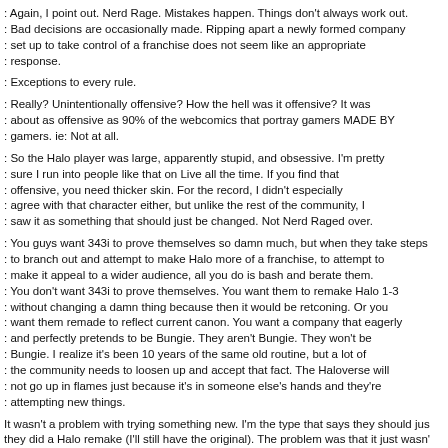: Again, I point out. Nerd Rage. Mistakes happen. Things don't always work out. : Bad decisions are occasionally made. Ripping apart a newly formed company : set up to take control of a franchise does not seem like an appropriate : response.
: Exceptions to every rule.
: Really? Unintentionally offensive? How the hell was it offensive? It was : about as offensive as 90% of the webcomics that portray gamers MADE BY : gamers. ie: Not at all.
: So the Halo player was large, apparently stupid, and obsessive. I'm pretty : sure I run into people like that on Live all the time. If you find that : offensive, you need thicker skin. For the record, I didn't especially : agree with that character either, but unlike the rest of the community, I : saw it as something that should just be changed. Not Nerd Raged over.
: You guys want 343i to prove themselves so damn much, but when they take steps : to branch out and attempt to make Halo more of a franchise, to attempt to : make it appeal to a wider audience, all you do is bash and berate them. : You don't want 343i to prove themselves. You want them to remake Halo 1-3 : without changing a damn thing because then it would be retconing. Or you : want them remade to reflect current canon. You want a company that eagerly : and perfectly pretends to be Bungie. They aren't Bungie. They won't be : Bungie. I realize it's been 10 years of the same old routine, but a lot of : the community needs to loosen up and accept that fact. The Haloverse will : not go up in flames just because it's in someone else's hands and they're : attempting new things.
It wasn't a problem with trying something new. I'm the type that says they should jus they did a Halo remake (I'll still have the original). The problem was that it just wasn' was annoying to see that, after the mistakes with TFoR and the encyclopedia, this is